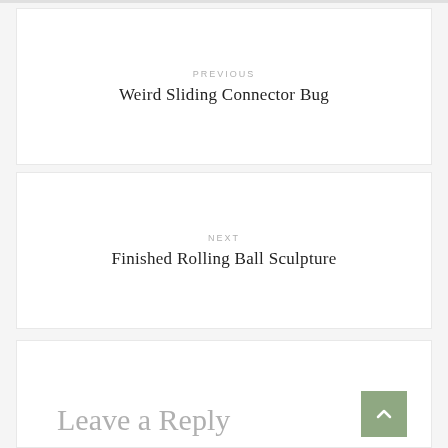PREVIOUS
Weird Sliding Connector Bug
NEXT
Finished Rolling Ball Sculpture
Leave a Reply